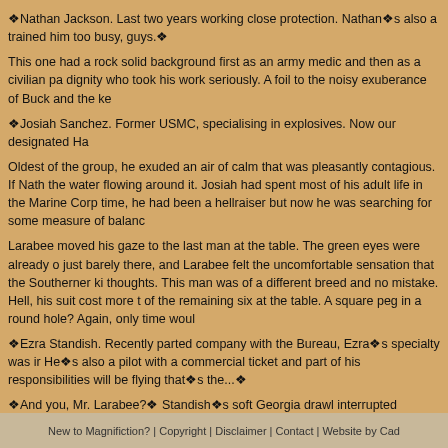❖Nathan Jackson. Last two years working close protection. Nathan❖s also a trained him too busy, guys.❖
This one had a rock solid background first as an army medic and then as a civilian pa dignity who took his work seriously. A foil to the noisy exuberance of Buck and the ke
❖Josiah Sanchez. Former USMC, specialising in explosives. Now our designated Ha
Oldest of the group, he exuded an air of calm that was pleasantly contagious. If Nath the water flowing around it. Josiah had spent most of his adult life in the Marine Corp time, he had been a hellraiser but now he was searching for some measure of balanc
Larabee moved his gaze to the last man at the table. The green eyes were already o just barely there, and Larabee felt the uncomfortable sensation that the Southerner ki thoughts. This man was of a different breed and no mistake. Hell, his suit cost more t of the remaining six at the table. A square peg in a round hole? Again, only time woul
❖Ezra Standish. Recently parted company with the Bureau, Ezra❖s specialty was ir He❖s also a pilot with a commercial ticket and part of his responsibilities will be flying that❖s the...❖
❖And you, Mr. Larabee?❖ Standish❖s soft Georgia drawl interrupted smoothly. ❖W
Chris looked evenly at his questioner, wondering how the Southerner always manage hint of sarcasm without ever being openly challenging. He shrugged, never complete himself. ❖Nothing spectacular. Regular Army then Special Forces. Moved into this b ago. Started out as a bodyguard and the rest, as they say, is history.❖ Quickly movir table. ❖Any questions?❖
Wilmington leaned back in his chair and stretched expansively. ❖Yeah. Where❖s th
New to Magnifiction? | Copyright | Disclaimer | Contact | Website by Cad